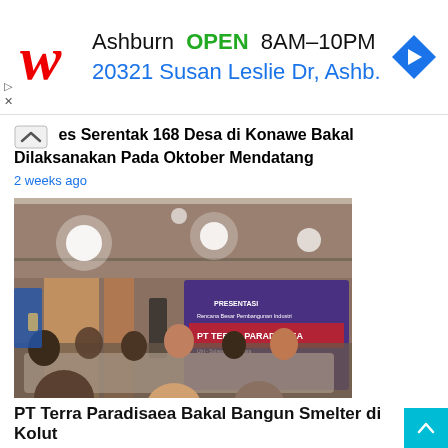[Figure (advertisement): Walgreens advertisement banner: Ashburn OPEN 8AM-10PM, 20321 Susan Susan Leslie Dr, Ashb. with Walgreens cursive logo and blue navigation arrow icon]
Piles Serentak 168 Desa di Konawe Bakal Dilaksanakan Pada Oktober Mendatang
2 weeks ago
[Figure (photo): Indoor conference/meeting room photo showing people seated around tables with a banner in the background reading PRESENTASI and Terra Paradisaea, Sulawesi Tenggara]
PT Terra Paradisaea Bakal Bangun Smelter di Kolut